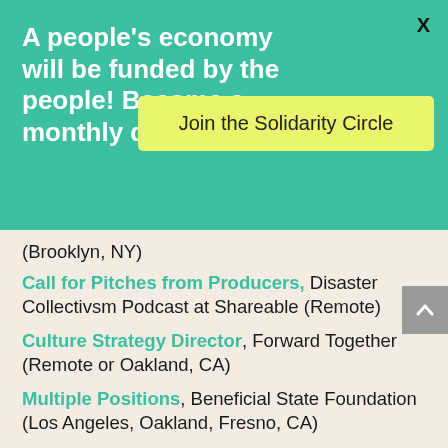A people's economy will be funded by the people! Become a monthly donor to NEC.
Join the Solidarity Circle
X
(Brooklyn, NY)
Call for Pitches from Producers, Disaster Collectivsm Podcast at Shareable (Remote)
Culture Strategy Director, Forward Together (Remote or Oakland, CA)
Multiple Positions, Beneficial State Foundation (Los Angeles, Oakland, Fresno, CA)
Legal Cafe Director, Sustainable Economies